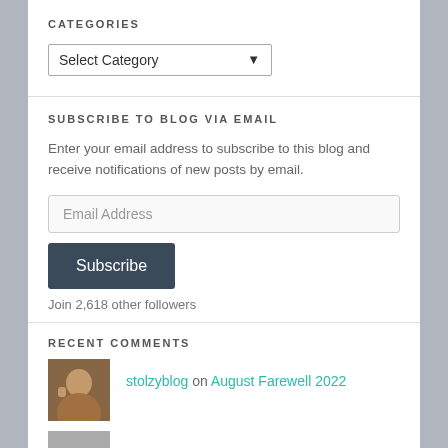CATEGORIES
[Figure (screenshot): Dropdown selector showing 'Select Category' with a down arrow]
SUBSCRIBE TO BLOG VIA EMAIL
Enter your email address to subscribe to this blog and receive notifications of new posts by email.
[Figure (screenshot): Email Address input field]
[Figure (screenshot): Subscribe button (dark slate color)]
Join 2,618 other followers
RECENT COMMENTS
stolzyblog on August Farewell 2022